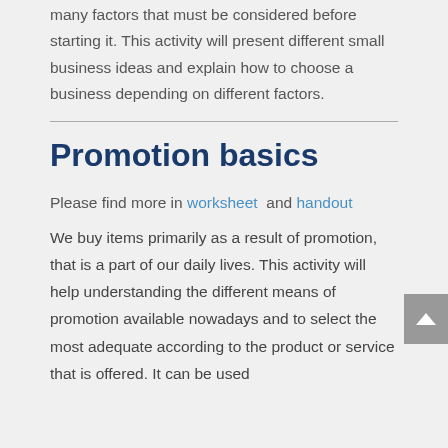many factors that must be considered before starting it. This activity will present different small business ideas and explain how to choose a business depending on different factors.
Promotion basics
Please find more in worksheet and handout
We buy items primarily as a result of promotion, that is a part of our daily lives. This activity will help understanding the different means of promotion available nowadays and to select the most adequate according to the product or service that is offered. It can be used